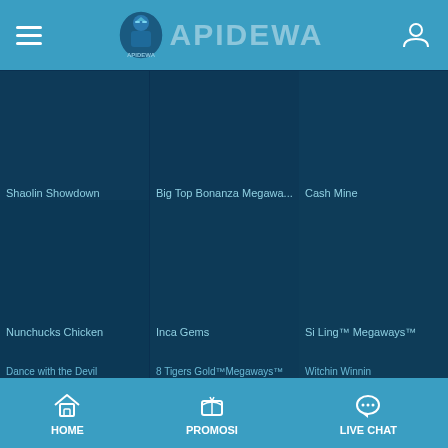APIDEWA - Navigation header with hamburger menu, logo, and user icon
Shaolin Showdown
Big Top Bonanza Megawa...
Cash Mine
Nunchucks Chicken
Inca Gems
Si Ling™ Megaways™
Dance with the Devil
8 Tigers Gold™Megaways™
Witchin Winnin
HOME   PROMOSI   LIVE CHAT